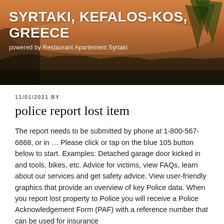SYRTAKI, KEFALOS-KOS, GREECE
powered by Restaurant Apartement Syrtaki
11/01/2021 BY
police report lost item
The report needs to be submitted by phone at 1-800-567-6868, or in … Please click or tap on the blue 105 button below to start. Examples: Detached garage door kicked in and tools, bikes, etc. Advice for victims, view FAQs, learn about our services and get safety advice. View user-friendly graphics that provide an overview of key Police data. When you report lost property to Police you will receive a Police Acknowledgement Form (PAF) with a reference number that can be used for insurance